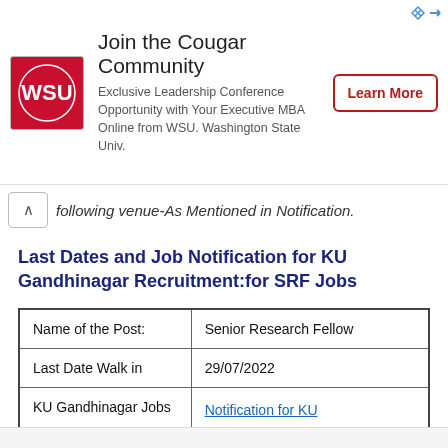[Figure (other): Advertisement banner for WSU Executive MBA program with WSU logo, text 'Join the Cougar Community', subtitle about Leadership Conference, and a Learn More button]
following venue-As Mentioned in Notification.
Last Dates and Job Notification for KU Gandhinagar Recruitment:for SRF Jobs
| Name of the Post: | Senior Research Fellow |
| Last Date Walk in | 29/07/2022 |
| KU Gandhinagar Jobs Notification | Notification for KU Gandhinagar Recruitment |